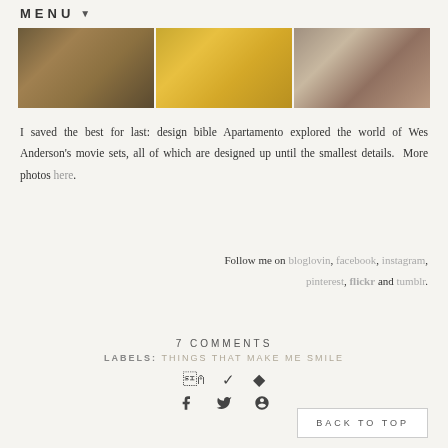MENU ▼
[Figure (photo): Three-panel photo strip showing Wes Anderson movie set interiors: left panel shows warm brown toned room with decorative items, center panel shows bright yellow coats/clothing, right panel shows patterned carpet room with white furniture.]
I saved the best for last: design bible Apartamento explored the world of Wes Anderson's movie sets, all of which are designed up until the smallest details. More photos here.
Follow me on bloglovin, facebook, instagram, pinterest, flickr and tumblr.
7 COMMENTS
LABELS: THINGS THAT MAKE ME SMILE